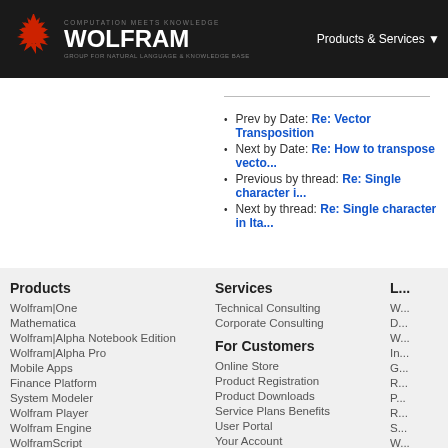WOLFRAM — COMPUTATION MEETS KNOWLEDGE — Products & Services
Prev by Date: Re: Vector Transposition
Next by Date: Re: How to transpose vecto...
Previous by thread: Re: Single character i...
Next by thread: Re: Single character in Ita...
Products
Wolfram|One
Mathematica
Wolfram|Alpha Notebook Edition
Wolfram|Alpha Pro
Mobile Apps
Finance Platform
System Modeler
Wolfram Player
Wolfram Engine
WolframScript
Wolfram Workbench
Services
Technical Consulting
Corporate Consulting
For Customers
Online Store
Product Registration
Product Downloads
Service Plans Benefits
User Portal
Your Account
L...